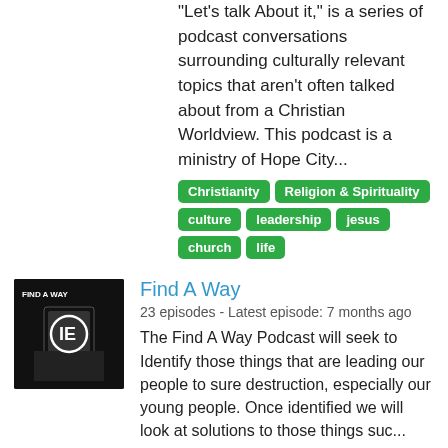"Let's talk About it," is a series of podcast conversations surrounding culturally relevant topics that aren't often talked about from a Christian Worldview. This podcast is a ministry of Hope City...
Christianity | Religion & Spirituality | culture | leadership | jesus | church | life
Find A Way
23 episodes - Latest episode: 7 months ago
The Find A Way Podcast will seek to Identify those things that are leading our people to sure destruction, especially our young people. Once identified we will look at solutions to those things suc...
Christianity | Religion & Spirituality | jesus | sacrificed | power | news | church
Indescribable Kids Podcast
16 episodes - Latest episode: 9 months ago